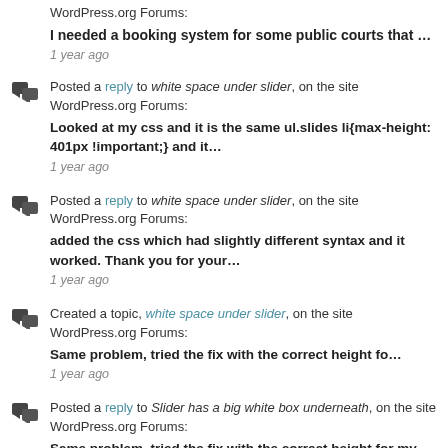WordPress.org Forums:
I needed a booking system for some public courts that …
1 year ago
Posted a reply to white space under slider, on the site WordPress.org Forums:
Looked at my css and it is the same ul.slides li{max-height: 401px !important;} and it…
1 year ago
Posted a reply to white space under slider, on the site WordPress.org Forums:
added the css which had slightly different syntax and it worked. Thank you for your…
1 year ago
Created a topic, white space under slider, on the site WordPress.org Forums:
Same problem, tried the fix with the correct height fo…
1 year ago
Posted a reply to Slider has a big white box underneath, on the site WordPress.org Forums:
Same problem, tried the fix with the correct height for my slider and it...